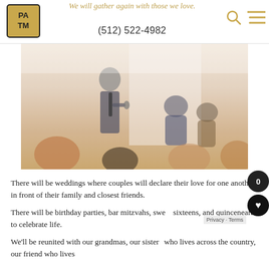We will gather again with those we love.
(512) 522-4982
[Figure (photo): Indoor event photo showing a man in a suit speaking/giving a toast at an event, with seated guests including a couple and attendees in the foreground, bright indoor lighting, faded/washed-out warm tones.]
There will be weddings where couples will declare their love for one another in front of their family and closest friends.
There will be birthday parties, bar mitzvahs, sweet sixteens, and quincenearas to celebrate life.
We'll be reunited with our grandmas, our sisters who lives across the country, our friend who lives